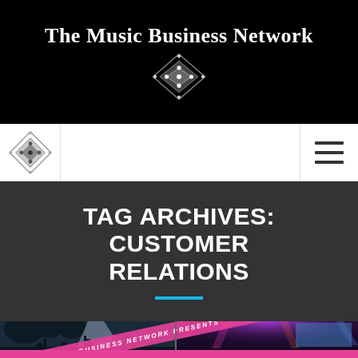The Music Business Network
[Figure (logo): Diamond/rhombus logo with four dots, white on black background, in top banner]
[Figure (logo): Smaller diamond/rhombus logo in navigation bar]
[Figure (illustration): Hamburger menu icon (three horizontal lines) in navigation bar]
TAG ARCHIVES: CUSTOMER RELATIONS
[Figure (photo): Concert photo collage showing crowd with raised hands in dark/blue light on left, stage with purple/pink lighting on right, with pink diagonal banner reading THE MUSIC BUSINESS NETWORK PRESENTS, and pink brush-stroke bar at bottom with white italic text beginning UNPLUGGED]